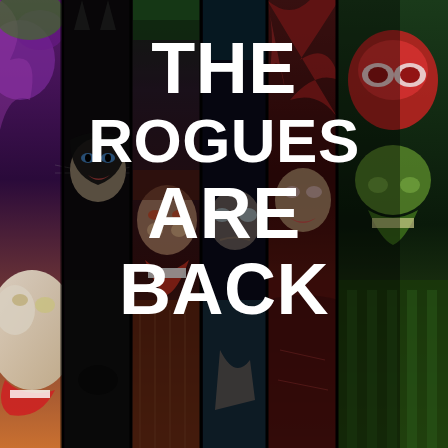[Figure (illustration): Collage of comic book villain character illustrations shown in vertical strips side by side. Characters include the Joker, Catwoman, and other DC Comics rogues, rendered in a stylized comic art style with dark overlay. The Joker appears on the left with white face paint and red lips, Catwoman in black mask in center-left, a grinning villain in center, a blue-tinted villain and red-haired female villain on the right side, and a green villain on the far right.]
THE ROGUES ARE BACK